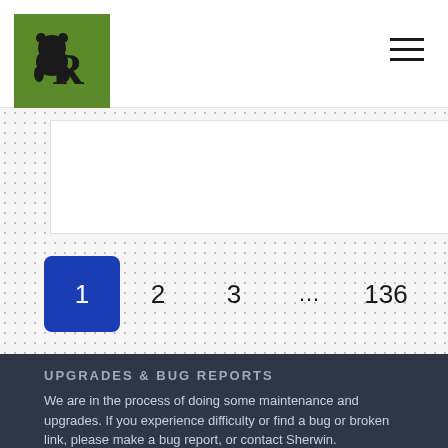[Figure (logo): Green square logo with stylized AR letters and a bear/animal silhouette]
[Figure (other): Hamburger menu icon (three horizontal lines) in top right corner]
[Figure (other): Pagination controls: active page 1 (blue), pages 2, 3, ellipsis, 136, and next arrow]
UPGRADES & BUG REPORTS
We are in the process of doing some maintenance and upgrades. If you experience difficulty or find a bug or broken link, please make a bug report, or contact Sherwin.